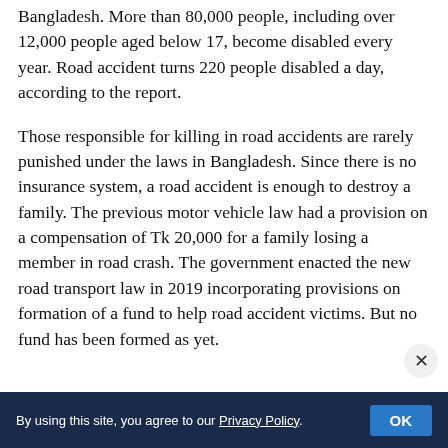Bangladesh. More than 80,000 people, including over 12,000 people aged below 17, become disabled every year. Road accident turns 220 people disabled a day, according to the report.
Those responsible for killing in road accidents are rarely punished under the laws in Bangladesh. Since there is no insurance system, a road accident is enough to destroy a family. The previous motor vehicle law had a provision on a compensation of Tk 20,000 for a family losing a member in road crash. The government enacted the new road transport law in 2019 incorporating provisions on formation of a fund to help road accident victims. But no fund has been formed as yet.
By using this site, you agree to our Privacy Policy. OK